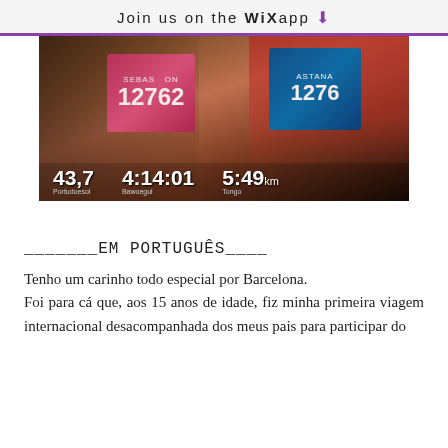Join us on the WiX app ↓
[Figure (photo): Two runners wearing marathon race bibs. Left bib shows number 12762 (SEBAS..ON), right bib shows ASTANA 1276. Overlay stats at bottom: 43,7 | 4:14:01 | 5:49]
_______EM PORTUGUÊS____
Tenho um carinho todo especial por Barcelona.
Foi para cá que, aos 15 anos de idade, fiz minha primeira viagem internacional desacompanhada dos meus pais para participar do